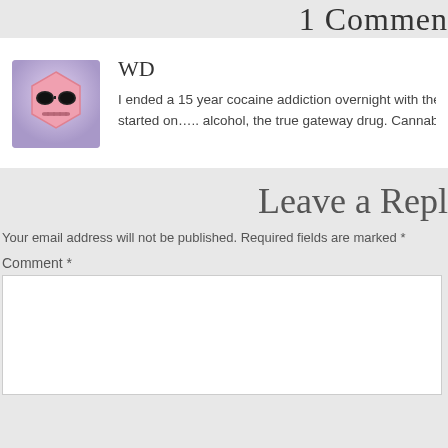1 Comment
WD
I ended a 15 year cocaine addiction overnight with the h... started on….. alcohol, the true gateway drug. Cannabis
Leave a Reply
Your email address will not be published. Required fields are marked *
Comment *